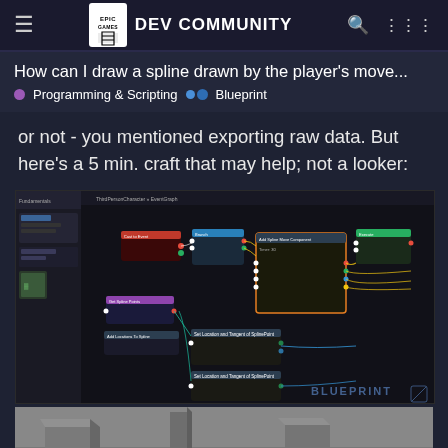EPIC GAMES DEV COMMUNITY
How can I draw a spline drawn by the player's move...
Programming & Scripting   Blueprint
or not - you mentioned exporting raw data. But here's a 5 min. craft that may help; not a looker:
[Figure (screenshot): Unreal Engine Blueprint editor showing a complex node graph with spline-related nodes, including Set Location and Tangent of Spline Point nodes, connected with colored wires. BLUEPRINT watermark visible in bottom right.]
[Figure (screenshot): Unreal Engine 3D viewport showing a gray environment with a green spline path drawn on the ground following a curved route, with a white sphere actor and some box geometry visible.]